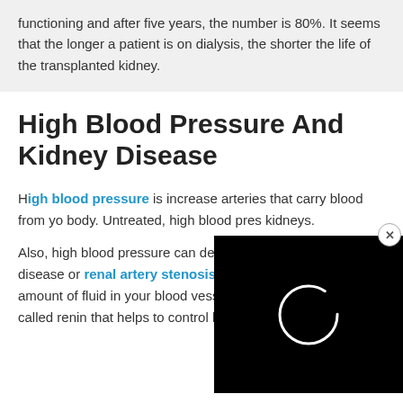functioning and after five years, the number is 80%. It seems that the longer a patient is on dialysis, the shorter the life of the transplanted kidney.
High Blood Pressure And Kidney Disease
High blood pressure is increased pressure in the arteries that carry blood from your heart to your body. Untreated, high blood pressure can damage the kidneys.
[Figure (screenshot): A black video player overlay showing a white circular spinner/loader in the center, with a close button (X) in the top right corner.]
Also, high blood pressure can develop as a result of kidney disease or renal artery stenosis . Your kidneys control the amount of fluid in your blood vessels and produce a hormone called renin that helps to control blood pressure.